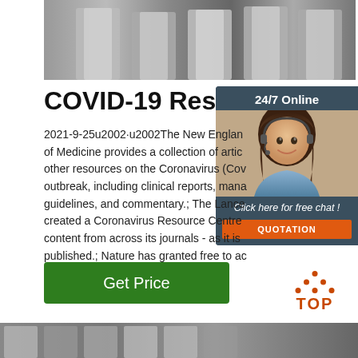[Figure (photo): Black and white photo of metallic bars/plates viewed from above]
COVID-19 Resources
[Figure (infographic): 24/7 Online chat widget with photo of woman with headset, 'Click here for free chat!' text, and orange QUOTATION button]
2021-9-25u2002·u2002The New England Journal of Medicine provides a collection of articles and other resources on the Coronavirus (Covid-19) outbreak, including clinical reports, management guidelines, and commentary.; The Lancet has created a Coronavirus Resource Centre with content from across its journals - as it is published.; Nature has granted free to access the latest ...
[Figure (other): Green 'Get Price' button]
[Figure (other): Orange TOP navigation button with dots]
[Figure (photo): Partial image at bottom of page]